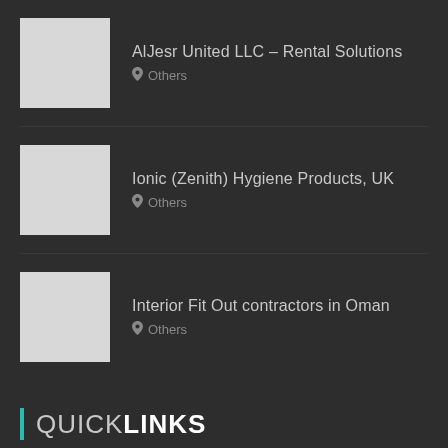AlJesr United LLC – Rental Solutions
Others
Ionic (Zenith) Hygiene Products, UK
Others
Interior Fit Out contractors in Oman
Others
QUICK LINKS
Services